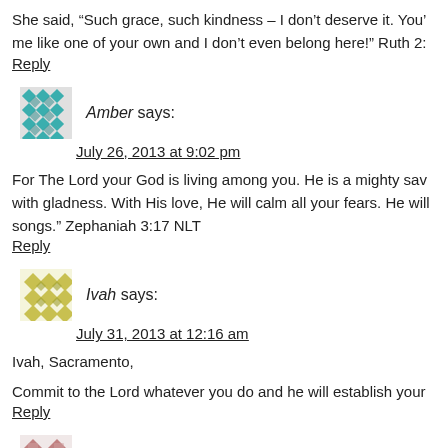She said, “Such grace, such kindness – I don’t deserve it. You’ve treated me like one of your own and I don’t even belong here!” Ruth 2:
Reply
Amber says:
July 26, 2013 at 9:02 pm
For The Lord your God is living among you. He is a mighty sav with gladness. With His love, He will calm all your fears. He will songs.” Zephaniah 3:17 NLT
Reply
Ivah says:
July 31, 2013 at 12:16 am
Ivah, Sacramento,
Commit to the Lord whatever you do and he will establish your
Reply
Lisa Neisen says: